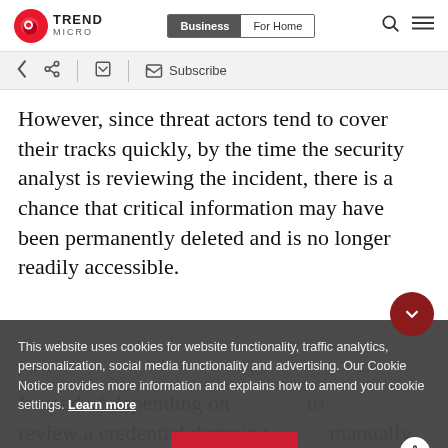Trend Micro — Business | For Home
However, since threat actors tend to cover their tracks quickly, by the time the security analyst is reviewing the incident, there is a chance that critical information may have been permanently deleted and is no longer readily accessible.
This website uses cookies for website functionality, traffic analytics, personalization, social media functionality and advertising. Our Cookie Notice provides more information and explains how to amend your cookie settings. Learn more
Instead of depending on ... to review a credential dumping ... manually